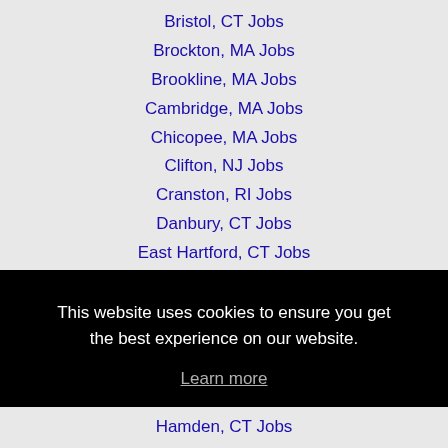Bristol, CT Jobs
Brockton, MA Jobs
Brookline, MA Jobs
Cambridge, MA Jobs
Chicopee, MA Jobs
Clifton, NJ Jobs
Cranston, RI Jobs
Danbury, CT Jobs
East Hartford, CT Jobs
This website uses cookies to ensure you get the best experience on our website.
Learn more
Got it!
Hamden, CT Jobs